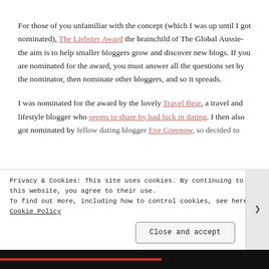For those of you unfamiliar with the concept (which I was up until I got nominated), The Liebster Award the brainchild of The Global Aussie- the aim is to help smaller bloggers grow and discover new blogs. If you are nominated for the award, you must answer all the questions set by the nominator, then nominate other bloggers, and so it spreads.
I was nominated for the award by the lovely Travel Bear, a travel and lifestyle blogger who seems to share by bad luck in dating. I then also got nominated by fellow dating blogger Eve Greenow, so decided to
Privacy & Cookies: This site uses cookies. By continuing to use this website, you agree to their use.
To find out more, including how to control cookies, see here: Cookie Policy
Close and accept